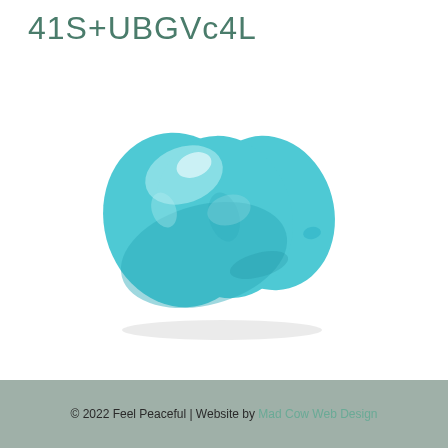41S+UBGVc4L
[Figure (photo): A translucent teal/cyan colored peanut-shaped or bean-shaped plastic object, slightly oval with a smooth glossy surface, photographed on a white background at a slight angle.]
© 2022 Feel Peaceful | Website by Mad Cow Web Design